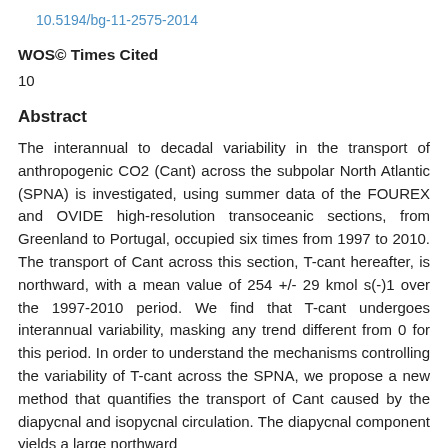10.5194/bg-11-2575-2014
WOS© Times Cited
10
Abstract
The interannual to decadal variability in the transport of anthropogenic CO2 (Cant) across the subpolar North Atlantic (SPNA) is investigated, using summer data of the FOUREX and OVIDE high-resolution transoceanic sections, from Greenland to Portugal, occupied six times from 1997 to 2010. The transport of Cant across this section, T-cant hereafter, is northward, with a mean value of 254 +/- 29 kmol s(-)1 over the 1997-2010 period. We find that T-cant undergoes interannual variability, masking any trend different from 0 for this period. In order to understand the mechanisms controlling the variability of T-cant across the SPNA, we propose a new method that quantifies the transport of Cant caused by the diapycnal and isopycnal circulation. The diapycnal component yields a large northward